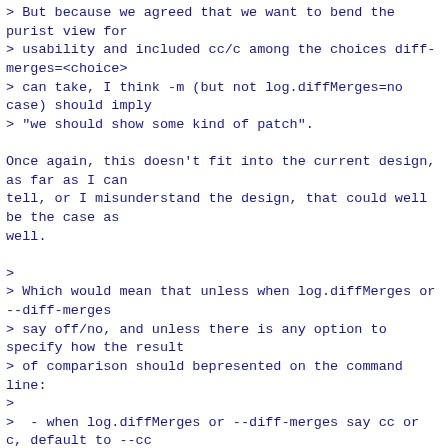> But because we agreed that we want to bend the purist view for
> usability and included cc/c among the choices diff-merges=<choice>
> can take, I think -m (but not log.diffMerges=no case) should imply
> "we should show some kind of patch".

Once again, this doesn't fit into the current design, as far as I can
tell, or I misunderstand the design, that could well be the case as
well.

>
> Which would mean that unless when log.diffMerges or --diff-merges
> say off/no, and unless there is any option to specify how the result
> of comparison should bepresented on the command line:
>
>  - when log.diffMerges or --diff-merges say cc or c, default to --cc
>     or -c.
>
>  - otherwise,default to --patch.
>
> is what I think should happen.  But the reason I think so is not
> because "--cc" and "-c" gives output without "-m"